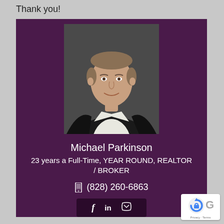Thank you!
[Figure (photo): Professional headshot of Michael Parkinson, a middle-aged man with gray-brown hair wearing a black blazer and white shirt, against a dark gray background.]
Michael Parkinson
23 years a Full-Time, YEAR ROUND, REALTOR / BROKER
(828) 260-6863
[Figure (logo): reCAPTCHA badge with blue circular arrow icon. Text below: Privacy · Terms]